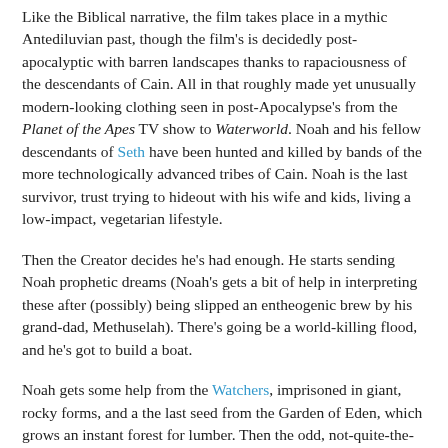Like the Biblical narrative, the film takes place in a mythic Antediluvian past, though the film's is decidedly post-apocalyptic with barren landscapes thanks to rapaciousness of the descendants of Cain. All in that roughly made yet unusually modern-looking clothing seen in post-Apocalypse's from the Planet of the Apes TV show to Waterworld. Noah and his fellow descendants of Seth have been hunted and killed by bands of the more technologically advanced tribes of Cain. Noah is the last survivor, trust trying to hideout with his wife and kids, living a low-impact, vegetarian lifestyle.
Then the Creator decides he's had enough. He starts sending Noah prophetic dreams (Noah's gets a bit of help in interpreting these after (possibly) being slipped an entheogenic brew by his grand-dad, Methuselah). There's going be a world-killing flood, and he's got to build a boat.
Noah gets some help from the Watchers, imprisoned in giant, rocky forms, and a the last seed from the Garden of Eden, which grows an instant forest for lumber. Then the odd, not-quite-the-animals-we-know, start showing up in